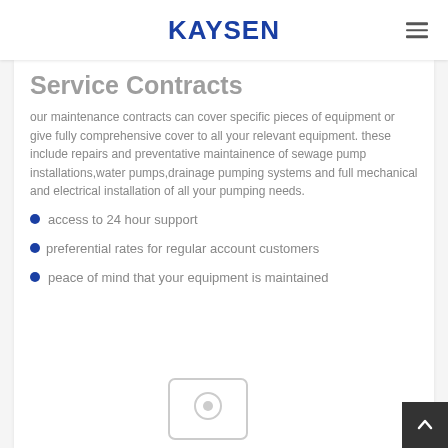KAYSEN
Service Contracts
our maintenance contracts can cover specific pieces of equipment or give fully comprehensive cover to all your relevant equipment. these include repairs and preventative maintainence of sewage pump installations,water pumps,drainage pumping systems and full mechanical and electrical installation of all your pumping needs.
access to 24 hour support
preferential rates for regular account customers
peace of mind that your equipment is maintained
[Figure (photo): Placeholder image thumbnail at bottom of page]